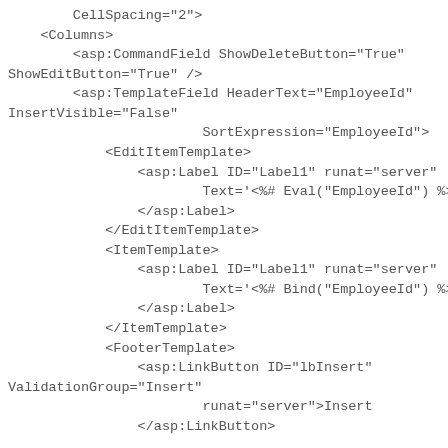CellSpacing="2">
<Columns>
    <asp:CommandField ShowDeleteButton="True"
ShowEditButton="True" />
    <asp:TemplateField HeaderText="EmployeeId"
InsertVisible="False"
                    SortExpression="EmployeeId">
        <EditItemTemplate>
            <asp:Label ID="Label1" runat="server"
                    Text='<%# Eval("EmployeeId") %>'>
            </asp:Label>
        </EditItemTemplate>
        <ItemTemplate>
            <asp:Label ID="Label1" runat="server"
                    Text='<%# Bind("EmployeeId") %>'>
            </asp:Label>
        </ItemTemplate>
        <FooterTemplate>
            <asp:LinkButton ID="lbInsert"
ValidationGroup="Insert"
                    runat="server" OnClick="lbInsert_Click">Insert
            </asp:LinkButton>